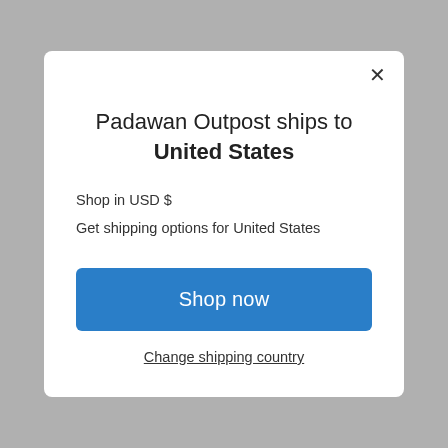Padawan Outpost ships to United States
Shop in USD $
Get shipping options for United States
Shop now
Change shipping country